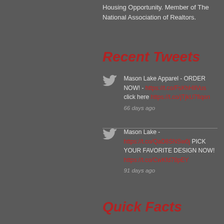Housing Opportunity. Member of The National Association of Realtors.
Recent Tweets
Mason Lake Apparel - ORDER NOW! - https://t.co/FsKhHIlVus click here https://t.co/jTjkU7fiqon
66 days ago
Mason Lake - https://t.co/QaD8SNSw0j PICK YOUR FAVORITE DESIGN NOW! https://t.co/CwKfd78pEY
91 days ago
Quick Facts